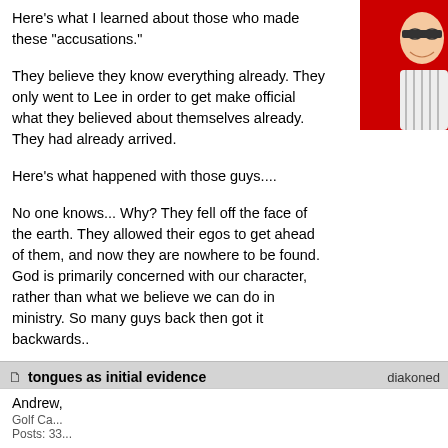Here's what I learned about those who made these "accusations."
They believe they know everything already. They only went to Lee in order to get make official what they believed about themselves already. They had already arrived.
Here's what happened with those guys....
No one knows... Why? They fell off the face of the earth. They allowed their egos to get ahead of them, and now they are nowhere to be found. God is primarily concerned with our character, rather than what we believe we can do in ministry. So many guys back then got it backwards..
Great post! I'm glad to hear Lee is still a wonderful place.
My Twitter www.twitter.com/theB3
My Facebook www.facebook.com/theB3
[Figure (screenshot): Forum post buttons: profile, pm, quote]
tongues as initial evidence
Andrew,
Golf Ca... Posts: 33...